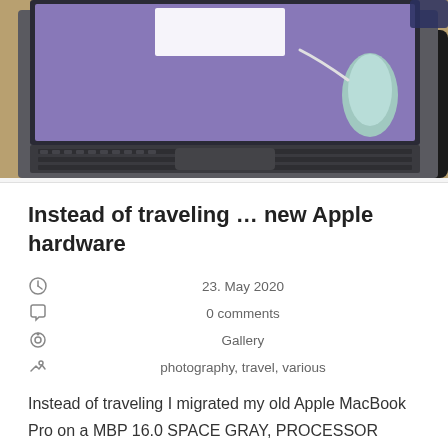[Figure (photo): Photo of a MacBook Pro laptop with purple/lavender screen on a desk, with a light blue wireless mouse on a black mousepad to the right]
Instead of traveling … new Apple hardware
23. May 2020
0 comments
Gallery
photography, travel, various
Instead of traveling I migrated my old Apple MacBook Pro on a MBP 16.0 SPACE GRAY, PROCESSOR 2.4GHz 8-core Intel Core i9, GRAPHICS Radeon Pro 5500M with